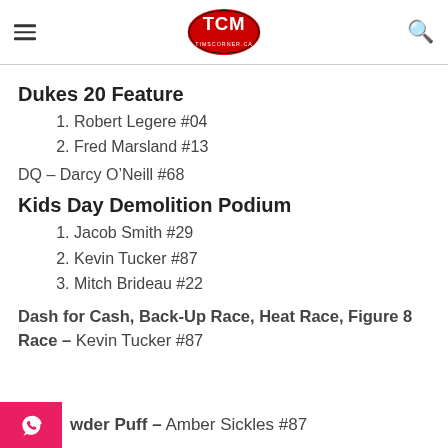TCM TIMSCORNER.CA
Dukes 20 Feature
1. Robert Legere #04
2. Fred Marsland #13
DQ – Darcy O’Neill #68
Kids Day Demolition Podium
1. Jacob Smith #29
2. Kevin Tucker #87
3. Mitch Brideau #22
Dash for Cash, Back-Up Race, Heat Race, Figure 8 Race – Kevin Tucker #87
Powder Puff – Amber Sickles #87